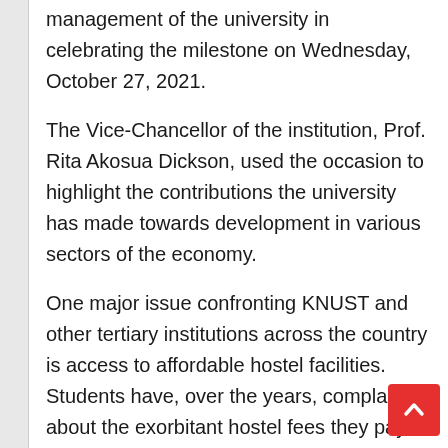management of the university in celebrating the milestone on Wednesday, October 27, 2021.
The Vice-Chancellor of the institution, Prof. Rita Akosua Dickson, used the occasion to highlight the contributions the university has made towards development in various sectors of the economy.
One major issue confronting KNUST and other tertiary institutions across the country is access to affordable hostel facilities. Students have, over the years, complained about the exorbitant hostel fees they pay to private hostel owners.
This has largely been attributed to inadequate hostels on various university campuses.